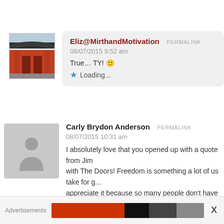[Figure (photo): Avatar of Eliz@MirthandMotivation — photo of a red Japanese temple gate]
Eliz@MirthandMotivation PERMALINK
08/07/2015 9:52 am
True… TY! 🙂
★ Loading...
[Figure (illustration): Generic person silhouette avatar (gray placeholder)]
Carly Brydon Anderson PERMALINK
08/07/2015 10:31 am
I absolutely love that you opened up with a quote from Jim... with The Doors! Freedom is something a lot of us take for g... appreciate it because so many people don't have any ki...
Advertisements X